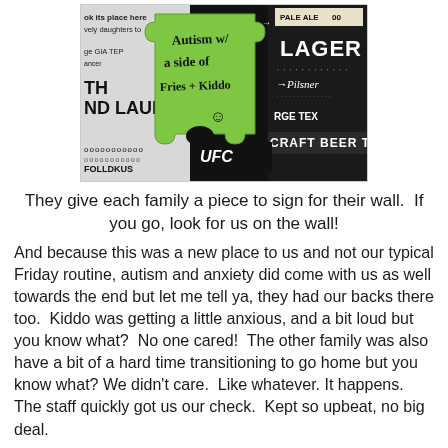[Figure (photo): Photo of a green puzzle piece with handwritten text 'Autism w/ a side of Fries + Kiddo' with a smiley face, placed on a table with a restaurant menu background showing beer options like Pale Ale, Lager, Pilsner, and Craft Beer.]
They give each family a piece to sign for their wall.  If you go, look for us on the wall!
And because this was a new place to us and not our typical Friday routine, autism and anxiety did come with us as well towards the end but let me tell ya, they had our backs there too.  Kiddo was getting a little anxious, and a bit loud but you know what?  No one cared!  The other family was also have a bit of a hard time transitioning to go home but you know what? We didn't care.  Like whatever. It happens.  The staff quickly got us our check.  Kept so upbeat, no big deal.